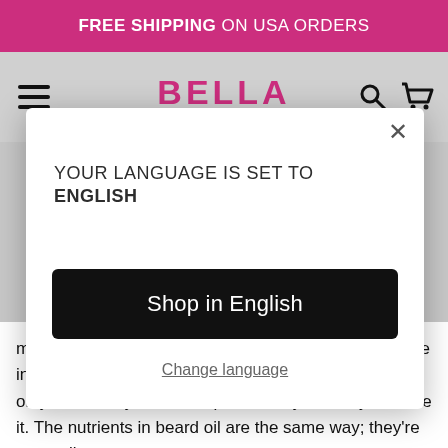FREE SHIPPING ON USA ORDERS
[Figure (logo): Bella All Natural logo with hamburger menu, search and cart icons]
YOUR LANGUAGE IS SET TO ENGLISH
Shop in English
Change language
magnesium and all of that to grow, but that needs to be in your diet. You don't build muscle by rubbing protein on your arms, you eat the protein so your body can use it. The nutrients in beard oil are the same way; they're not really